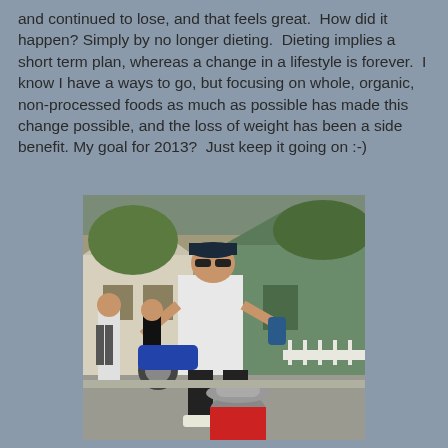and continued to lose, and that feels great.  How did it happen? Simply by no longer dieting.  Dieting implies a short term plan, whereas a change in a lifestyle is forever.  I know I have a ways to go, but focusing on whole, organic, non-processed foods as much as possible has made this change possible, and the loss of weight has been a side benefit. My goal for 2013?  Just keep it going on :-)
[Figure (photo): A man wearing a white shirt, black pants, a cap, and sunglasses runs in a race, smiling and reaching out with his hand toward a child in a red shirt and gray hat in the foreground. Other runners and a motorcycle are visible in the background along a residential street with houses.]